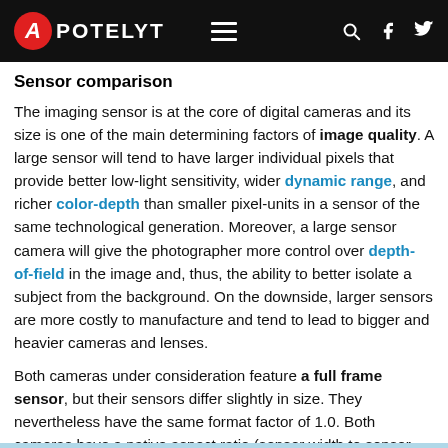APOTELYT
Sensor comparison
The imaging sensor is at the core of digital cameras and its size is one of the main determining factors of image quality. A large sensor will tend to have larger individual pixels that provide better low-light sensitivity, wider dynamic range, and richer color-depth than smaller pixel-units in a sensor of the same technological generation. Moreover, a large sensor camera will give the photographer more control over depth-of-field in the image and, thus, the ability to better isolate a subject from the background. On the downside, larger sensors are more costly to manufacture and tend to lead to bigger and heavier cameras and lenses.
Both cameras under consideration feature a full frame sensor, but their sensors differ slightly in size. They nevertheless have the same format factor of 1.0. Both cameras have a native aspect ratio (sensor width to sensor height) of 3:2.